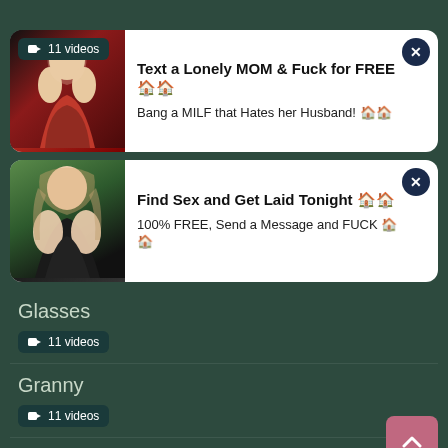[Figure (screenshot): Ad card 1 with woman in red dress, badge showing 11 videos]
Text a Lonely MOM & Fuck for FREE 🏠🏠
Bang a MILF that Hates her Husband! 🏠🏠
[Figure (screenshot): Ad card 2 with young woman in bikini]
Find Sex and Get Laid Tonight 🏠🏠
100% FREE, Send a Message and FUCK 🏠🏠
Glasses
🎬 11 videos
Granny
🎬 11 videos
Group